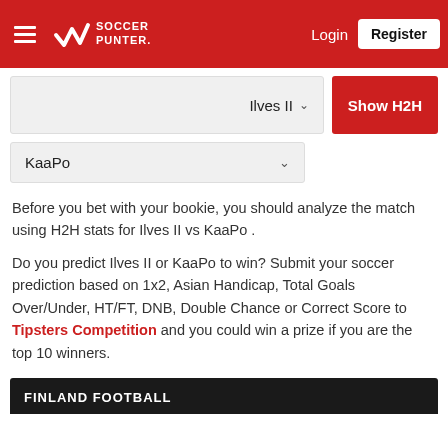Soccer Punter — Login | Register
Ilves II ∨   Show H2H
KaaPo ∨
Before you bet with your bookie, you should analyze the match using H2H stats for Ilves II vs KaaPo .
Do you predict Ilves II or KaaPo to win? Submit your soccer prediction based on 1x2, Asian Handicap, Total Goals Over/Under, HT/FT, DNB, Double Chance or Correct Score to Tipsters Competition and you could win a prize if you are the top 10 winners.
FINLAND FOOTBALL